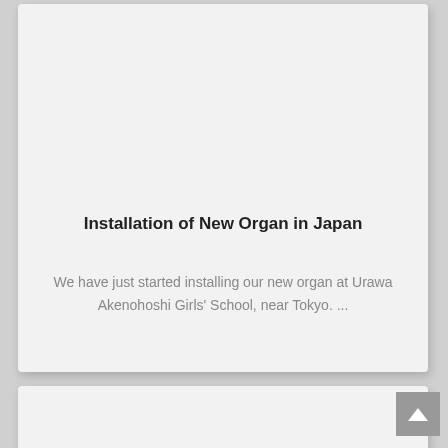Installation of New Organ in Japan
We have just started installing our new organ at Urawa Akenohoshi Girls' School, near Tokyo. ...